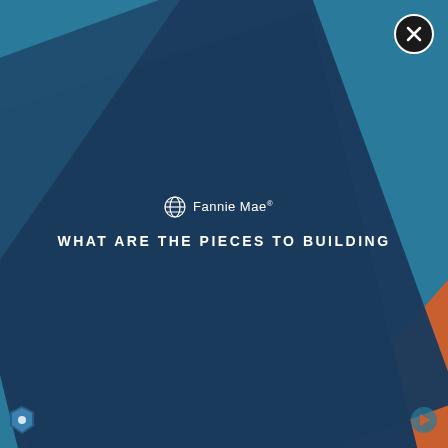[Figure (illustration): Fannie Mae branded cover slide with teal/dark-blue background, a rotated dark navy rectangle in the center, and an orange triangle in the bottom-right corner. A close button (X in black circle) appears in the top-right corner.]
Fannie Mae
WHAT ARE THE PIECES TO BUILDING